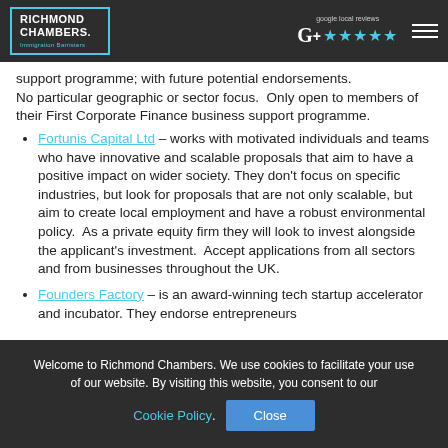Richmond Chambers Immigration Barristers — Google local reviews ★★★★★
support programme; with future potential endorsements. No particular geographic or sector focus. Only open to members of their First Corporate Finance business support programme.
Fortunis Capital Ltd – works with motivated individuals and teams who have innovative and scalable proposals that aim to have a positive impact on wider society. They don't focus on specific industries, but look for proposals that are not only scalable, but aim to create local employment and have a robust environmental policy. As a private equity firm they will look to invest alongside the applicant's investment. Accept applications from all sectors and from businesses throughout the UK.
Founders Factory – is an award-winning tech startup accelerator and incubator. They endorse entrepreneurs
Welcome to Richmond Chambers. We use cookies to facilitate your use of our website. By visiting this website, you consent to our Cookie Policy. Close